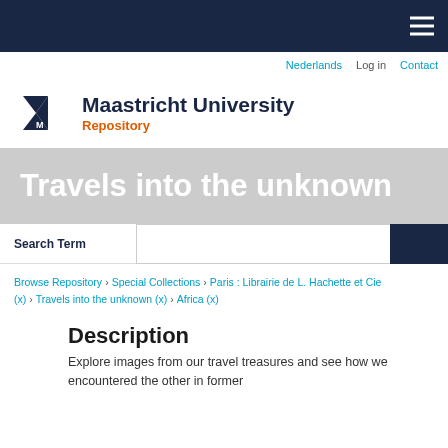Maastricht University Repository — navigation bar
[Figure (logo): Maastricht University logo with UM triangular mark and Repository text]
Travels into the unknown
Search Term [search input field]
Browse Repository › Special Collections › Paris : Librairie de L. Hachette et Cie (x) › Travels into the unknown (x) › Africa (x)
Description
Explore images from our travel treasures and see how we encountered the other in former